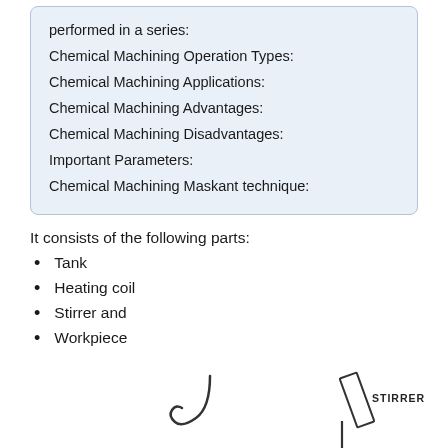performed in a series:
Chemical Machining Operation Types:
Chemical Machining Applications:
Chemical Machining Advantages:
Chemical Machining Disadvantages:
Important Parameters:
Chemical Machining Maskant technique:
It consists of the following parts:
Tank
Heating coil
Stirrer and
Workpiece
[Figure (engineering-diagram): Partial engineering diagram showing a hook-like element and a stirrer component labeled 'STIRRER' at the bottom of the page]